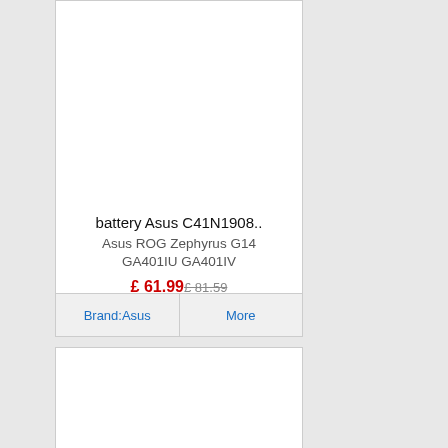[Figure (photo): Product image area for battery Asus C41N1908 (empty/white)]
battery Asus C41N1908..
Asus ROG Zephyrus G14 GA401IU GA401IV
£ 61.99 £ 81.59
Brand:Asus   More
[Figure (photo): Second product card image area (empty/white)]